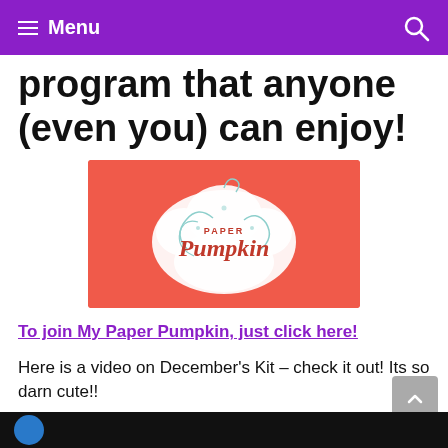Menu
program that anyone (even you) can enjoy!
[Figure (logo): Paper Pumpkin logo on a red/coral background with decorative swirls and a white cloud pumpkin shape]
To join My Paper Pumpkin, just click here!
Here is a video on December's Kit – check it out! Its so darn cute!!